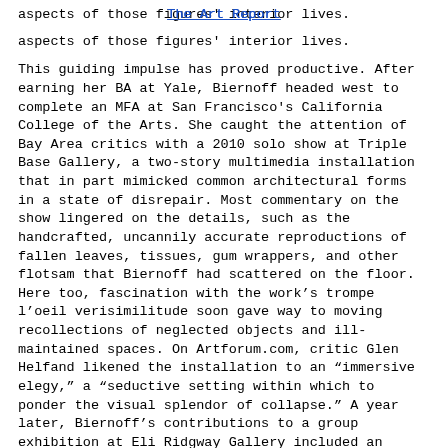The Art Report
aspects of those figures' interior lives.

This guiding impulse has proved productive. After earning her BA at Yale, Biernoff headed west to complete an MFA at San Francisco's California College of the Arts. She caught the attention of Bay Area critics with a 2010 solo show at Triple Base Gallery, a two-story multimedia installation that in part mimicked common architectural forms in a state of disrepair. Most commentary on the show lingered on the details, such as the handcrafted, uncannily accurate reproductions of fallen leaves, tissues, gum wrappers, and other flotsam that Biernoff had scattered on the floor. Here too, fascination with the work's trompe l'oeil verisimilitude soon gave way to moving recollections of neglected objects and ill-maintained spaces. On Artforum.com, critic Glen Helfand likened the installation to an “immersive elegy,” a “seductive setting within which to ponder the visual splendor of collapse.” A year later, Biernoff's contributions to a group exhibition at Eli Ridgway Gallery included an enclosure in which eighty slides of majestic landscapes were projected onto fog from a humidifier. Cogent and legible for only a moment, the